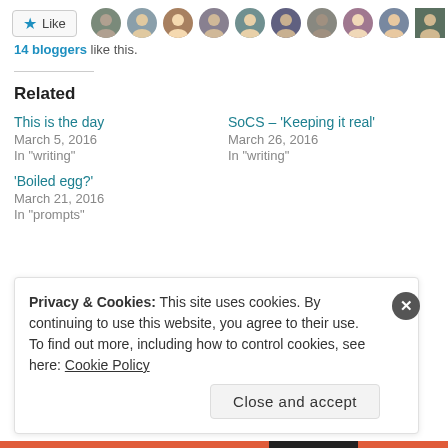[Figure (other): Like button with star icon and a row of blogger avatar photos]
14 bloggers like this.
Related
This is the day
March 5, 2016
In "writing"
SoCS – 'Keeping it real'
March 26, 2016
In "writing"
'Boiled egg?'
March 21, 2016
In "prompts"
Privacy & Cookies: This site uses cookies. By continuing to use this website, you agree to their use.
To find out more, including how to control cookies, see here: Cookie Policy
Close and accept